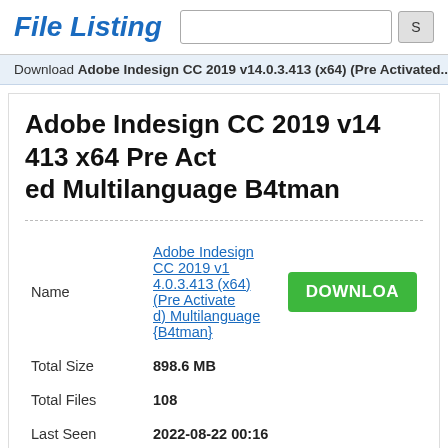File Listing
Download Adobe Indesign CC 2019 v14.0.3.413 (x64) (Pre Activated...
Adobe Indesign CC 2019 v14 413 x64 Pre Activated Multilanguage B4tman
|  |  |  |
| --- | --- | --- |
| Name | Adobe Indesign CC 2019 v14.0.3.413 (x64) (Pre Activated) Multilanguage {B4tman} | DOWNLOAD |
| Total Size | 898.6 MB |  |
| Total Files | 108 |  |
| Last Seen | 2022-08-22 00:16 |  |
| Hash | 9B2397B7E89B33E4DCA39B0364322D4202D1DF46 |  |